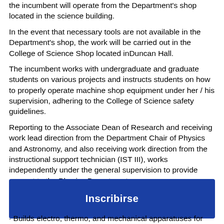Upon completion of the mandatory safety training courses, the incumbent will operate from the Department's shop located in the science building.
In the event that necessary tools are not available in the Department's shop, the work will be carried out in the College of Science Shop located inDuncan Hall.
The incumbent works with undergraduate and graduate students on various projects and instructs students on how to properly operate machine shop equipment under her / his supervision, adhering to the College of Science safety guidelines.
Reporting to the Associate Dean of Research and receiving work lead direction from the Department Chair of Physics and Astronomy, and also receiving work direction from the instructional support technician (IST III), works independently under the general supervision to provide support to the Physics Department.
Key Responsibilities
[Figure (other): Blue button labeled Inscribirse]
Builds electro, thermo, and mechanical apparatuses for